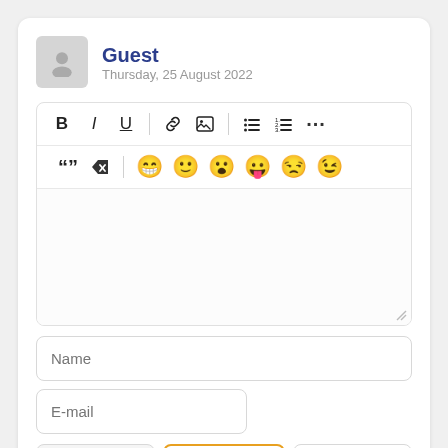Guest
Thursday, 25 August 2022
[Figure (screenshot): Text editor toolbar with formatting buttons (Bold, Italic, Underline, link, image, list, numbered list, more), quote and erase buttons, and emoji row]
Name
E-mail
[Figure (screenshot): CAPTCHA input box with text '330=7', a refresh/reload button with orange border, and a blank button]